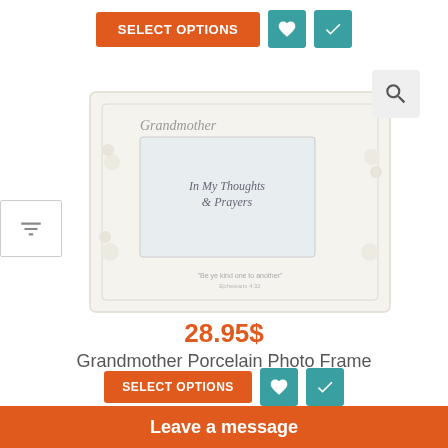[Figure (screenshot): SELECT OPTIONS button (orange) with heart and checkmark teal icon buttons to the right]
[Figure (photo): Grandmother porcelain photo frame product image with 'In My Thoughts & Prayers' text inside, magnify icon in top right corner, and a filter funnel button on the left side]
28.95$
Grandmother Porcelain Photo Frame
[Figure (screenshot): SELECT OPTIONS button (orange) with heart and checkmark teal icon buttons, partially visible at bottom]
Leave a message